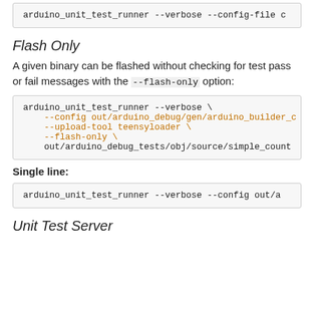arduino_unit_test_runner --verbose --config-file c
Flash Only
A given binary can be flashed without checking for test pass or fail messages with the --flash-only option:
arduino_unit_test_runner --verbose \
    --config out/arduino_debug/gen/arduino_builder_c
    --upload-tool teensyloader \
    --flash-only \
    out/arduino_debug_tests/obj/source/simple_count
Single line:
arduino_unit_test_runner --verbose --config out/a
Unit Test Server